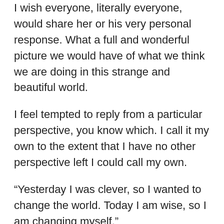I wish everyone, literally everyone, would share her or his very personal response. What a full and wonderful picture we would have of what we think we are doing in this strange and beautiful world.
I feel tempted to reply from a particular perspective, you know which. I call it my own to the extent that I have no other perspective left I could call my own.
“Yesterday I was clever, so I wanted to change the world. Today I am wise, so I am changing myself.”
Is the great poet saying it was wrong I tried to change the world yesterday? I don’t think so. It took me to today where I know it’s not working.